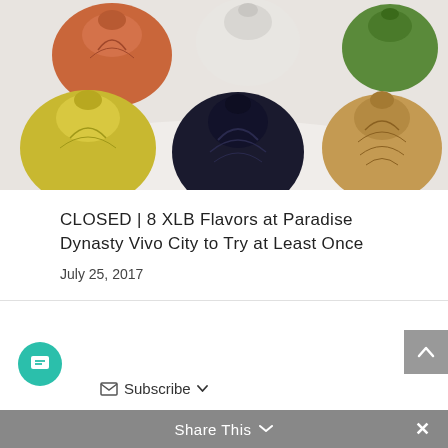[Figure (photo): Colorful xiaolongbao (XLB) dumplings in various colors: orange, white, green, yellow, black/dark blue, and brown/tan, arranged on a white surface.]
CLOSED | 8 XLB Flavors at Paradise Dynasty Vivo City to Try at Least Once
July 25, 2017